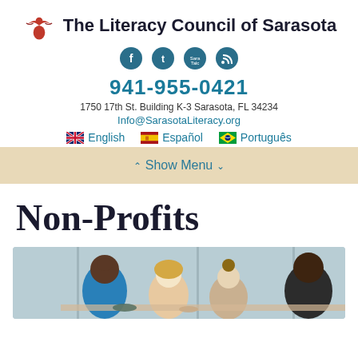[Figure (logo): The Literacy Council of Sarasota logo with red bird/figure icon and organization name]
[Figure (infographic): Four social media icons: Facebook, Twitter, SaraTalc, RSS feed - dark teal circular icons]
941-955-0421
1750 17th St. Building K-3 Sarasota, FL 34234
Info@SarasotaLiteracy.org
🇬🇧 English   🇪🇸 Español   🇧🇷 Português
Show Menu
Non-Profits
[Figure (photo): Group of adults studying together at a table, diverse group including man in blue shirt, women with light hair, man in dark shirt on right]